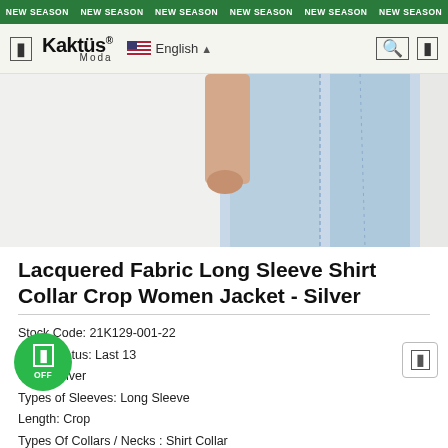NEW SEASON NEW SEASON NEW SEASON NEW SEASON NEW SEASON NEW SEASON
[Figure (screenshot): Kaktüs Moda website navigation bar with logo and English language selector]
[Figure (photo): Cropped product photo showing lower body wearing light blue denim jeans, white background]
Lacquered Fabric Long Sleeve Shirt Collar Crop Women Jacket - Silver
Stock Code: 21K129-001-22
Stock Status: Last 13
Color: Silver
Types of Sleeves: Long Sleeve
Length: Crop
Types Of Collars / Necks: Shirt Collar
Types Of Prints: Unprinted
Printing: Plain
Lined: Lined